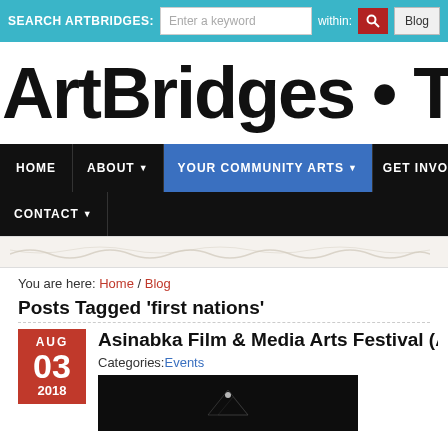SEARCH ARTBRIDGES: [search input] within: [search button] Blog
[Figure (logo): ArtBridges logo text in large hand-lettered style, reading ARTBRIDGES · TOIL (cropped)]
HOME | ABOUT ▼ | YOUR COMMUNITY ARTS ▼ | GET INVOLVE... | CONTACT ▼
[Figure (illustration): Decorative textured strip with handwritten-style scribbles]
You are here: Home / Blog
Posts Tagged 'first nations'
Asinabka Film & Media Arts Festival (Aug 8-...
Categories: Events
[Figure (photo): Dark/black image, likely film festival related, partially visible at bottom of page]